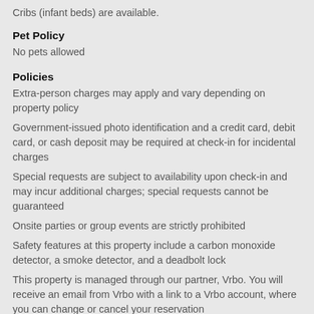Cribs (infant beds) are available.
Pet Policy
No pets allowed
Policies
Extra-person charges may apply and vary depending on property policy
Government-issued photo identification and a credit card, debit card, or cash deposit may be required at check-in for incidental charges
Special requests are subject to availability upon check-in and may incur additional charges; special requests cannot be guaranteed
Onsite parties or group events are strictly prohibited
Safety features at this property include a carbon monoxide detector, a smoke detector, and a deadbolt lock
This property is managed through our partner, Vrbo. You will receive an email from Vrbo with a link to a Vrbo account, where you can change or cancel your reservation
Be prepared: check the latest COVID-19 travel requirements and measures in place for this destination before you travel.
Charges for extra guests may apply and vary according to property policy